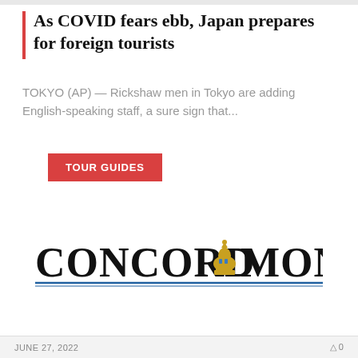As COVID fears ebb, Japan prepares for foreign tourists
TOKYO (AP) — Rickshaw men in Tokyo are adding English-speaking staff, a sure sign that...
TOUR GUIDES
[Figure (logo): Concord Monitor newspaper logo with gold dome capitol building icon between the words 'Concord' and 'Monitor' in serif font, with blue horizontal rule underline]
JUNE 27, 2022   0